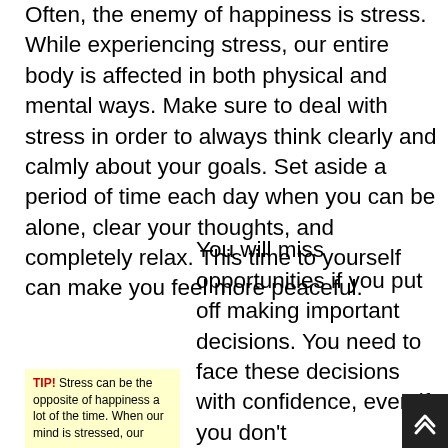Often, the enemy of happiness is stress. While experiencing stress, our entire body is affected in both physical and mental ways. Make sure to deal with stress in order to always think clearly and calmly about your goals. Set aside a period of time each day when you can be alone, clear your thoughts, and completely relax. This time to yourself can make you feel more peaceful.
TIP! Stress can be the opposite of happiness a lot of the time. When our mind is stressed, our...
You will miss opportunities if you put off making important decisions. You need to face these decisions with confidence, even if you don't